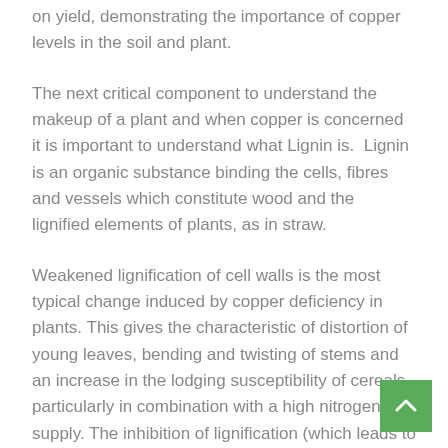on yield, demonstrating the importance of copper levels in the soil and plant.
The next critical component to understand the makeup of a plant and when copper is concerned it is important to understand what Lignin is.  Lignin is an organic substance binding the cells, fibres and vessels which constitute wood and the lignified elements of plants, as in straw.
Weakened lignification of cell walls is the most typical change induced by copper deficiency in plants. This gives the characteristic of distortion of young leaves, bending and twisting of stems and an increase in the lodging susceptibility of cereals, particularly in combination with a high nitrogen supply. The inhibition of lignification (which leads to lodging) is related to the direct roles of two copper enzymes in lignin biosynthesis. In lowered lignification scenarios, phenolic compounds can accumulate, resulting in melanosis (brown pigmentation) in wheat